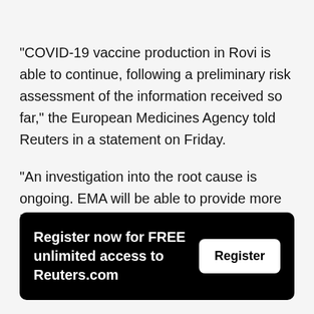"COVID-19 vaccine production in Rovi is able to continue, following a preliminary risk assessment of the information received so far," the European Medicines Agency told Reuters in a statement on Friday.
"An investigation into the root cause is ongoing. EMA will be able to provide more information as the investigation progresses," it added.
Register now for FREE unlimited access to Reuters.com  Register